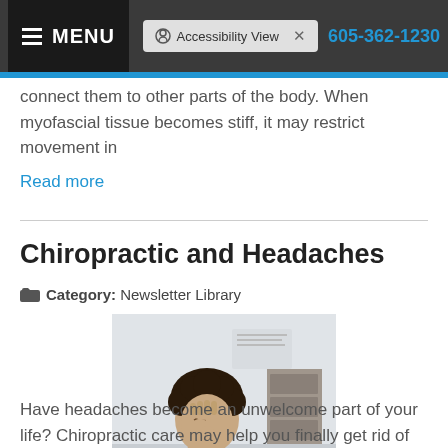MENU  |  Accessibility View  |  605-362-1230
connect them to other parts of the body. When myofascial tissue becomes stiff, it may restrict movement in
Read more
Chiropractic and Headaches
Category: Newsletter Library
[Figure (photo): A person with curly hair sitting at a desk, holding their head in their hand with eyes closed, appearing to have a headache. Office environment in the background.]
Have headaches become an unwelcome part of your life? Chiropractic care may help you finally get rid of